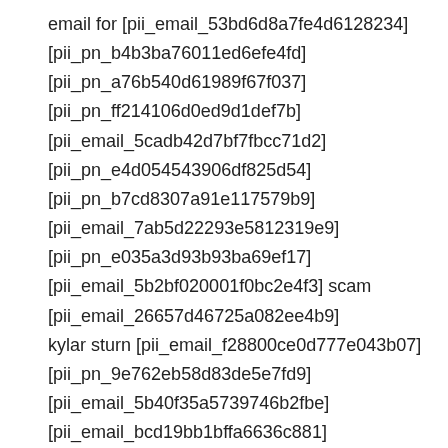email for [pii_email_53bd6d8a7fe4d6128234]
[pii_pn_b4b3ba76011ed6efe4fd]
[pii_pn_a76b540d61989f67f037]
[pii_pn_ff214106d0ed9d1def7b]
[pii_email_5cadb42d7bf7fbcc71d2]
[pii_pn_e4d054543906df825d54]
[pii_pn_b7cd8307a91e117579b9]
[pii_email_7ab5d22293e5812319e9]
[pii_pn_e035a3d93b93ba69ef17]
[pii_email_5b2bf020001f0bc2e4f3] scam
[pii_email_26657d46725a082ee4b9]
kylar sturn [pii_email_f28800ce0d777e043b07]
[pii_pn_9e762eb58d83de5e7fd9]
[pii_email_5b40f35a5739746b2fbe]
[pii_email_bcd19bb1bffa6636c881]
[pii_email_cb926d7a93773fcbba16].